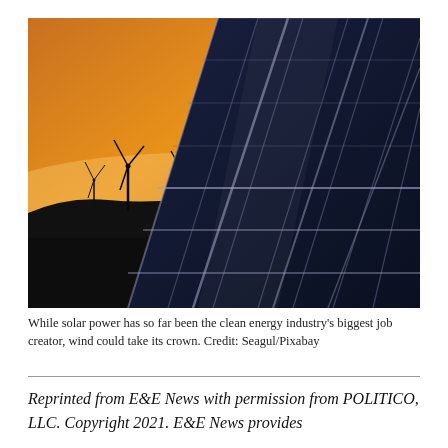[Figure (photo): Photograph of solar panels in the foreground (closeup of photovoltaic panels with grid lines visible) and wind turbines silhouetted against an orange sunset sky in the background.]
While solar power has so far been the clean energy industry's biggest job creator, wind could take its crown. Credit: Seagul/Pixabay
Reprinted from E&E News with permission from POLITICO, LLC. Copyright 2021. E&E News provides